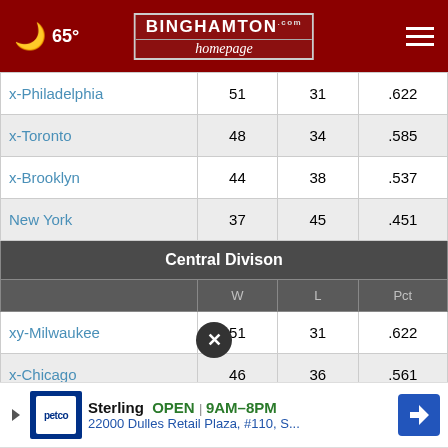65° | Binghamton Homepage
|  | W | L | Pct |
| --- | --- | --- | --- |
| x-Philadelphia | 51 | 31 | .622 |
| x-Toronto | 48 | 34 | .585 |
| x-Brooklyn | 44 | 38 | .537 |
| New York | 37 | 45 | .451 |
| Central Divison |  |  |  |
|  | W | L | Pct |
| xy-Milwaukee | 51 | 31 | .622 |
| x-Chicago | 46 | 36 | .561 |
| xyz-Cleveland |  |  |  |
| Indiana | 25 | 57 | .305 |
[Figure (screenshot): Advertisement banner for Petco: Sterling OPEN 9AM-8PM, 22000 Dulles Retail Plaza, #110, S...]